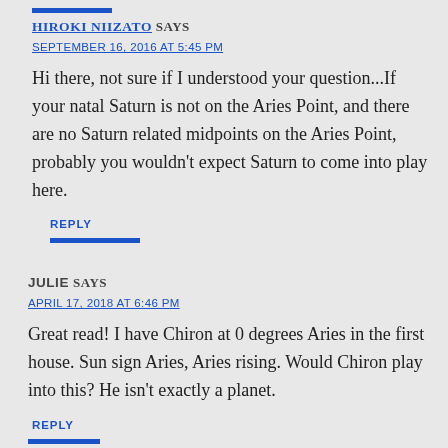HIROKI NIIZATO SAYS
SEPTEMBER 16, 2016 AT 5:45 PM
Hi there, not sure if I understood your question...If your natal Saturn is not on the Aries Point, and there are no Saturn related midpoints on the Aries Point, probably you wouldn't expect Saturn to come into play here.
REPLY
JULIE SAYS
APRIL 17, 2018 AT 6:46 PM
Great read! I have Chiron at 0 degrees Aries in the first house. Sun sign Aries, Aries rising. Would Chiron play into this? He isn't exactly a planet.
REPLY